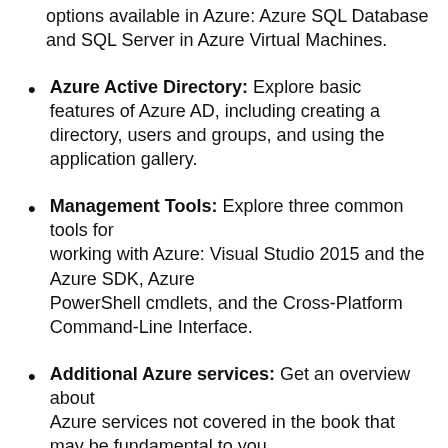options available in Azure: Azure SQL Database and SQL Server in Azure Virtual Machines.
Azure Active Directory: Explore basic features of Azure AD, including creating a directory, users and groups, and using the application gallery.
Management Tools: Explore three common tools for working with Azure: Visual Studio 2015 and the Azure SDK, Azure PowerShell cmdlets, and the Cross-Platform Command-Line Interface.
Additional Azure services: Get an overview about Azure services not covered in the book that may be fundamental to you now or in the future, such as Azure Service Fabric and Azure Container